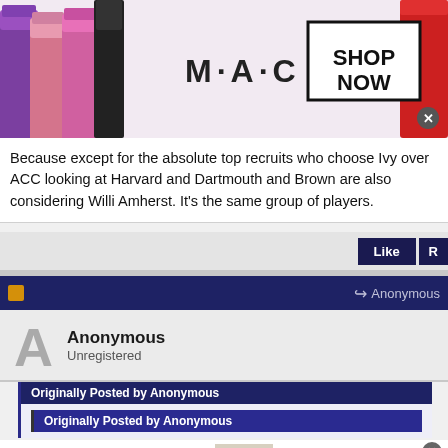[Figure (photo): MAC cosmetics advertisement banner showing colorful lipsticks on the left and right, MAC logo in center, 'SHOP NOW' box, and a close (x) button]
Because except for the absolute top recruits who choose Ivy over ACC looking at Harvard and Dartmouth and Brown are also considering Willi Amherst. It's the same group of players.
[Figure (screenshot): Anonymous user comment section with dark navy header bar, 'A' avatar, Anonymous / Unregistered user label, and nested 'Originally Posted by Anonymous' quote blocks]
[Figure (photo): Wayfair advertisement: Top Appliances Low Prices, image of a stove, Save on best selling brands that live up to the hype, Shop now button]